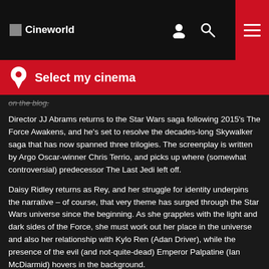Cineworld
Select my cinema
on the blog.
Director JJ Abrams returns to the Star Wars saga following 2015's The Force Awakens, and he's set to resolve the decades-long Skywalker saga that has now spanned three trilogies. The screenplay is written by Argo Oscar-winner Chris Terrio, and picks up where (somewhat controversial) predecessor The Last Jedi left off.
Daisy Ridley returns as Rey, and her struggle for identity underpins the narrative – of course, that very theme has surged through the Star Wars universe since the beginning. As she grapples with the light and dark sides of the Force, she must work out her place in the universe and also her relationship with Kylo Ren (Adan Driver), while the presence of the evil (and not-quite-dead) Emperor Palpatine (Ian McDiarmid) hovers in the background.
John Boyega, Oscar Isaac and Kelly Marie Tran all return, joined by new faces Keri Russell, Naomi Ackie and Richard E. Grant. Series regulars Mark Hamill, Billy Dee Williams, Anthony Daniels and Carrie Fisher all feature, promising to make this an emotional curtain Star